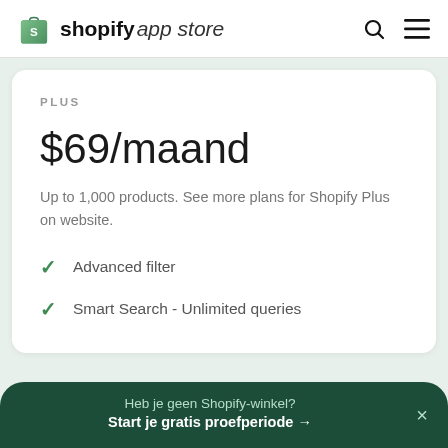shopify app store
PLUS
$69/maand
Up to 1,000 products. See more plans for Shopify Plus on website.
Advanced filter
Smart Search - Unlimited queries
Heb je geen Shopify-winkel? Start je gratis proefperiode →